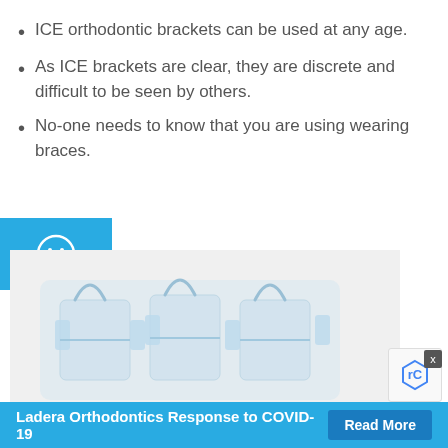ICE orthodontic brackets can be used at any age.
As ICE brackets are clear, they are discrete and difficult to be seen by others.
No-one needs to know that you are using wearing braces.
[Figure (photo): Close-up photo of clear ICE orthodontic brackets, transparent plastic dental braces]
Ladera Orthodontics Response to COVID-19  Read More